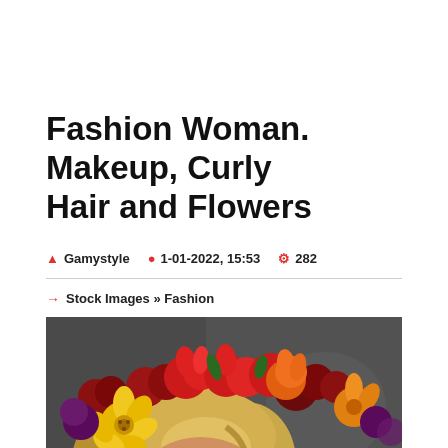Fashion Woman. Makeup, Curly Hair and Flowers
Gamystyle   1-01-2022, 15:53   282
Stock Images » Fashion
[Figure (photo): Close-up photo of a woman with blonde curly hair adorned with colorful red, orange, and yellow flowers (flower crown), against a dark grey background. Only the top of her head and partial face visible.]